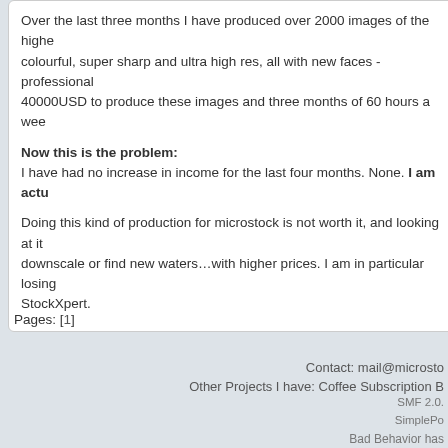Over the last three months I have produced over 2000 images of the highest quality, colourful, super sharp and ultra high res, all with new faces - professional ... 40000USD to produce these images and three months of 60 hours a week...
Now this is the problem: I have had no increase in income for the last four months. None. I am actu...
Doing this kind of production for microstock is not worth it, and looking at it... downscale or find new waters…with higher prices. I am in particular losing... StockXpert.
Pages: [1]
Contact: mail@microsto...
Other Projects I have: Coffee Subscription B...
SMF 2.0...
SimplePo...
Bad Behavior has...